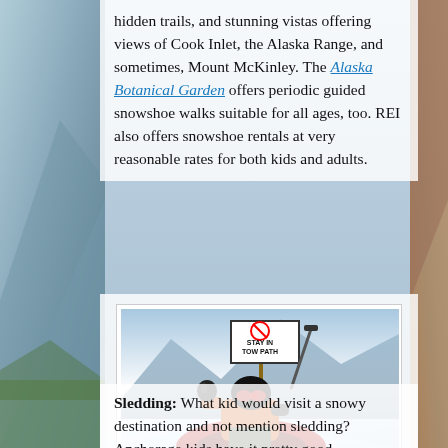hidden trails, and stunning vistas offering views of Cook Inlet, the Alaska Range, and sometimes, Mount McKinley. The Alaska Botanical Garden offers periodic guided snowshoe walks suitable for all ages, too. REI also offers snowshoe rentals at very reasonable rates for both kids and adults.
[Figure (photo): Child in orange jacket, helmet and goggles riding a red Arctic Valley inflatable tube on a snowy slope, with a 'STAY IN TOW PATH' sign visible in the background.]
Arctic Valley Tube Park is a thrill-a-minute for kids.
Sledding: What kid would visit a snowy destination and not mention sledding? Anchorage kids have it pretty good